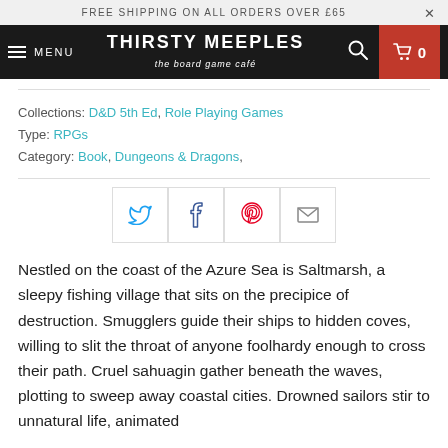FREE SHIPPING ON ALL ORDERS OVER £65
[Figure (logo): Thirsty Meeples – the board game café logo in white on black navbar, with hamburger menu, search icon, and cart showing 0]
Collections: D&D 5th Ed, Role Playing Games
Type: RPGs
Category: Book, Dungeons & Dragons,
[Figure (infographic): Social share buttons: Twitter (blue bird), Facebook (dark blue f), Pinterest (red P), Email (envelope)]
Nestled on the coast of the Azure Sea is Saltmarsh, a sleepy fishing village that sits on the precipice of destruction. Smugglers guide their ships to hidden coves, willing to slit the throat of anyone foolhardy enough to cross their path. Cruel sahuagin gather beneath the waves, plotting to sweep away coastal cities. Drowned sailors stir to unnatural life, animated